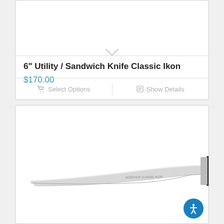6" Utility / Sandwich Knife Classic Ikon
$170.00
Select Options
Show Details
[Figure (photo): A Wüsthof Classic Ikon boning knife with a curved silver blade and black handle with three rivets, photographed on a white background.]